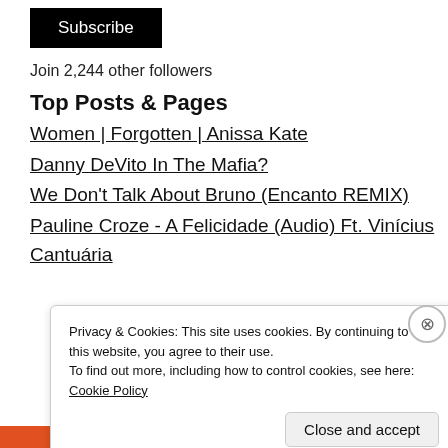[Figure (other): Subscribe button — black rectangle with white text 'Subscribe']
Join 2,244 other followers
Top Posts & Pages
Women | Forgotten | Anissa Kate
Danny DeVito In The Mafia?
We Don't Talk About Bruno (Encanto REMIX)
Pauline Croze - A Felicidade (Audio) Ft. Vinícius
Cantuária
Privacy & Cookies: This site uses cookies. By continuing to use this website, you agree to their use.
To find out more, including how to control cookies, see here: Cookie Policy
Close and accept